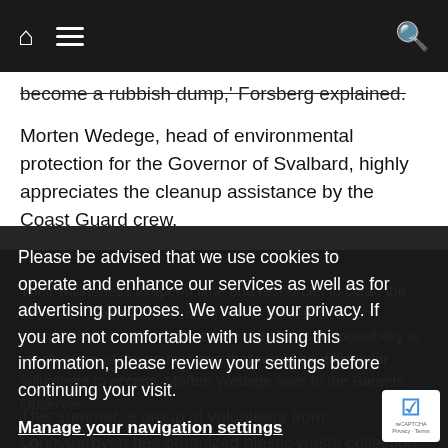Home | Menu | Search
become a rubbish dump,' Forsberg explained.
Morten Wedege, head of environmental protection for the Governor of Svalbard, highly appreciates the cleanup assistance by the Coast Guard crew.
Their willingness to spend time and resources to clean the beaches is highly appreciated by the Governor. Such contribution is important because they have the possibility to reach areas of the archipelago that would be difficult for volunteers to access, Morten Wedege says to the Barents Observer.
Please be advised that we use cookies to operate and enhance our services as well as for advertising purposes. We value your privacy. If you are not comfortable with us using this information, please review your settings before continuing your visit.
Manage your navigation settings
Find out more
This summer, a group of volunteers from Longyearbyen has organized plastic waste collection in Isfjorden, the waters within reach